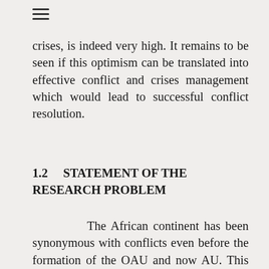crises, is indeed very high. It remains to be seen if this optimism can be translated into effective conflict and crises management which would lead to successful conflict resolution.
1.2 STATEMENT OF THE RESEARCH PROBLEM
The African continent has been synonymous with conflicts even before the formation of the OAU and now AU. This situation cannot be divorced from historical factors surrounding the formation of nation states in Africa